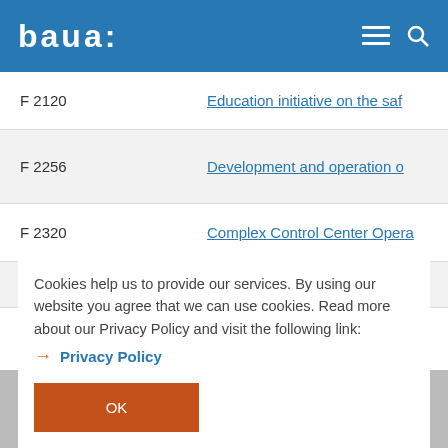baua:
| Code | Title |
| --- | --- |
| F 2120 | Education initiative on the saf… |
| F 2256 | Development and operation o… |
| F 2320 | Complex Control Center Opera… |
| F 2340 | … |
Cookies help us to provide our services. By using our website you agree that we can use cookies. Read more about our Privacy Policy and visit the following link:
→ Privacy Policy
OK